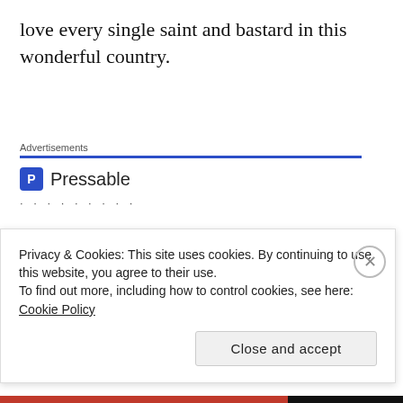love every single saint and bastard in this wonderful country.
[Figure (infographic): Pressable advertisement banner. Shows 'Advertisements' label with blue underline, Pressable logo with icon, dotted separator, large headline 'The Platform Where WordPress Works Best' in dark blue and blue colors, and a 'SEE PRICING' button.]
Privacy & Cookies: This site uses cookies. By continuing to use this website, you agree to their use.
To find out more, including how to control cookies, see here: Cookie Policy
Close and accept